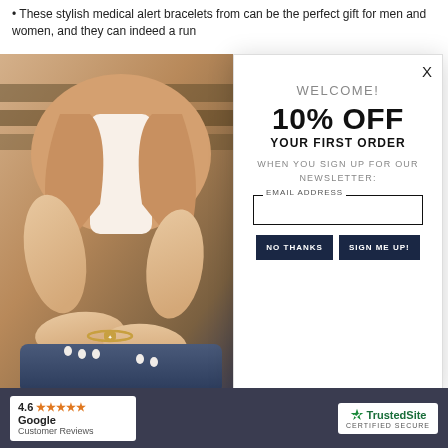These stylish medical alert bracelets from can be the perfect gift for men and women, and they can indeed a run
[Figure (photo): Woman wearing a gold medical alert bracelet on her wrist, seated, wearing a beige blazer and jeans]
X
WELCOME!
10% OFF
YOUR FIRST ORDER
WHEN YOU SIGN UP FOR OUR NEWSLETTER:
EMAIL ADDRESS
NO THANKS
SIGN ME UP!
4.6 ★★★★★ Google Customer Reviews
TrustedSite CERTIFIED SECURE